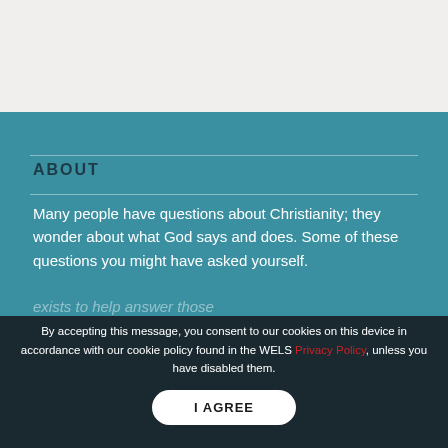ABOUT
Many people have questions about Christianity; they wonder about what God says and does. Some of these questions you might have asked yourself.
exists to help answer those
By accepting this message, you consent to our cookies on this device in accordance with our cookie policy found in the WELS Privacy Policy, unless you have disabled them.
I AGREE